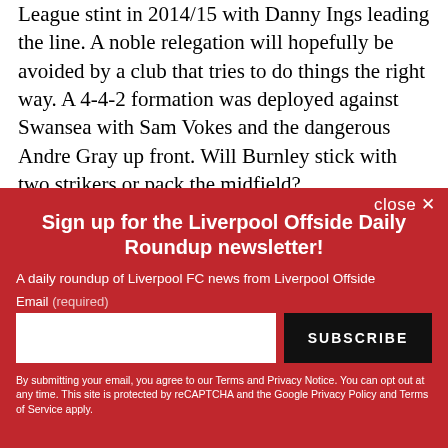Burnley played some good football in their last Premier League stint in 2014/15 with Danny Ings leading the line. A noble relegation will hopefully be avoided by a club that tries to do things the right way. A 4-4-2 formation was deployed against Swansea with Sam Vokes and the dangerous Andre Gray up front. Will Burnley stick with two strikers or pack the midfield?
[Figure (screenshot): Newsletter signup overlay with red background. Title: 'Sign up for the Liverpool Offside Daily Roundup newsletter!' Subtitle: 'A daily roundup of Liverpool FC news from Liverpool Offside'. Email input field and SUBSCRIBE button. Footer legal text about Terms and Privacy Notice, reCAPTCHA, Google Privacy Policy and Terms of Service.]